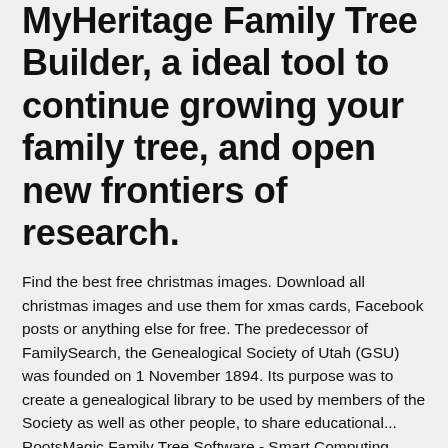MyHeritage Family Tree Builder, a ideal tool to continue growing your family tree, and open new frontiers of research.
Find the best free christmas images. Download all christmas images and use them for xmas cards, Facebook posts or anything else for free. The predecessor of FamilySearch, the Genealogical Society of Utah (GSU) was founded on 1 November 1894. Its purpose was to create a genealogical library to be used by members of the Society as well as other people, to share educational... RootsMagic Family Tree Software - Smart Computing Magazine calls RootsMagic 'the best genealogy program we've seen'. Free trial version. List of Family Tree Maker